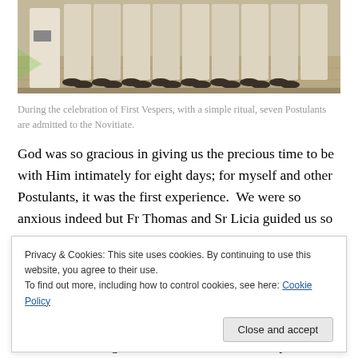[Figure (photo): Photo showing a row of women in long cream/white skirts and dark shoes standing on a stone floor, viewed from the waist down. A person in white robes stands at left holding a book.]
During the celebration of First Vespers, with a simple ritual, seven Postulants are admitted to the Novitiate.
God was so gracious in giving us the precious time to be with Him intimately for eight days; for myself and other Postulants, it was the first experience.  We were so anxious indeed but Fr Thomas and Sr Licia guided us so
Privacy & Cookies: This site uses cookies. By continuing to use this website, you agree to their use.
To find out more, including how to control cookies, see here: Cookie Policy
The most exciting time was when the Feast Day of…